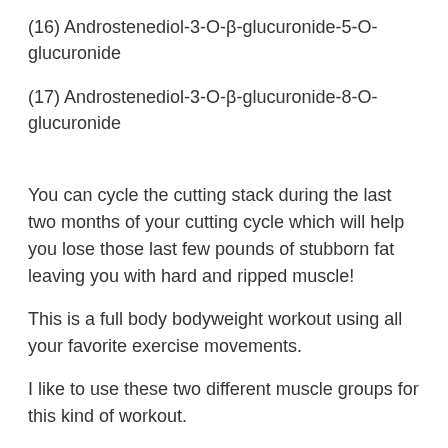(16) Androstenediol-3-O-β-glucuronide-5-O-glucuronide
(17) Androstenediol-3-O-β-glucuronide-8-O-glucuronide
You can cycle the cutting stack during the last two months of your cutting cycle which will help you lose those last few pounds of stubborn fat leaving you with hard and ripped muscle!
This is a full body bodyweight workout using all your favorite exercise movements.
I like to use these two different muscle groups for this kind of workout.
I like to start the movement with a